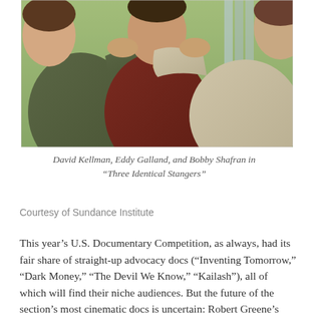[Figure (photo): Three men standing together with arms around each other, wearing casual clothing (olive, dark red, and tan sweaters), photographed outdoors.]
David Kellman, Eddy Galland, and Bobby Shafran in “Three Identical Stangers”
Courtesy of Sundance Institute
This year’s U.S. Documentary Competition, as always, had its fair share of straight-up advocacy docs (“Inventing Tomorrow,” “Dark Money,” “The Devil We Know,” “Kailash”), all of which will find their niche audiences. But the future of the section’s most cinematic docs is uncertain: Robert Greene’s “Bisbee ’17,” an elegiac and captivating journey into American history, identity, and division, as enacted by a small Arizona town; RaMell Ross’s “Hale County, This Morning,